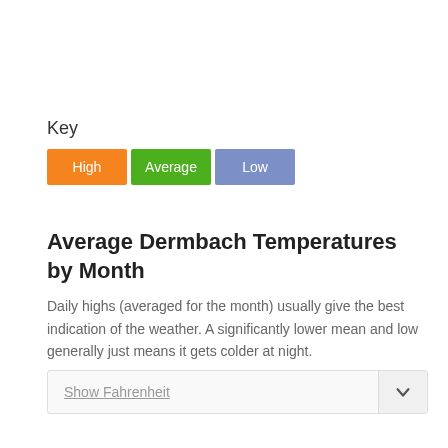Key
[Figure (infographic): Legend showing three colored boxes: High (orange), Average (green), Low (blue-purple)]
Average Dermbach Temperatures by Month
Daily highs (averaged for the month) usually give the best indication of the weather. A significantly lower mean and low generally just means it gets colder at night.
Show Fahrenheit